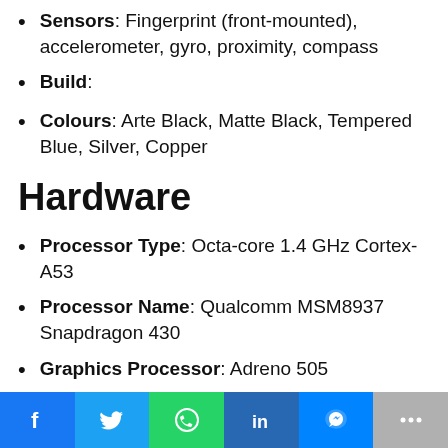Sensors: Fingerprint (front-mounted), accelerometer, gyro, proximity, compass
Build:
Colours: Arte Black, Matte Black, Tempered Blue, Silver, Copper
Hardware
Processor Type: Octa-core 1.4 GHz Cortex-A53
Processor Name: Qualcomm MSM8937 Snapdragon 430
Graphics Processor: Adreno 505
RAM: 3 GB / 4 GB